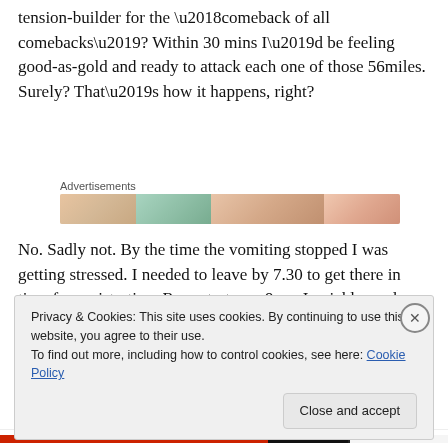tension-builder for the ‘comeback of all comebacks’? Within 30 mins I’d be feeling good-as-gold and ready to attack each one of those 56miles. Surely? That’s how it happens, right?
[Figure (other): Advertisements banner strip with colorful gradient images]
No. Sadly not. By the time the vomiting stopped I was getting stressed. I needed to leave by 7.30 to get there in time for registration. Race start was 9am. I quickly made
Privacy & Cookies: This site uses cookies. By continuing to use this website, you agree to their use.
To find out more, including how to control cookies, see here: Cookie Policy
Close and accept